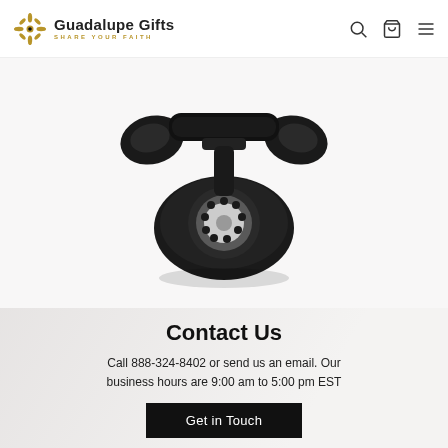[Figure (logo): Guadalupe Gifts logo with decorative snowflake/cross icon and text 'Guadalupe Gifts' with tagline 'SHARE YOUR FAITH']
[Figure (photo): Vintage black rotary telephone on a marble/white background]
Contact Us
Call 888-324-8402 or send us an email. Our business hours are 9:00 am to 5:00 pm EST
Get in Touch